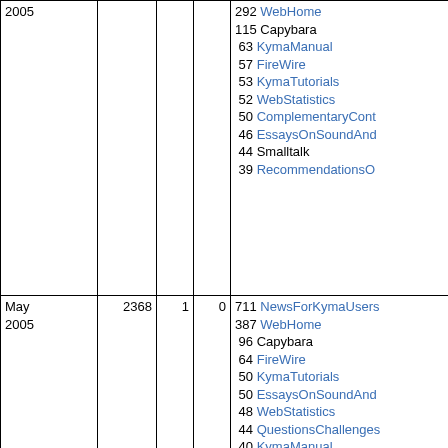| Month | Visits | Col3 | Col4 | Top Pages |
| --- | --- | --- | --- | --- |
| 2005 |  |  |  | 292 WebHome
115 Capybara
63 KymaManual
57 FireWire
53 KymaTutorials
52 WebStatistics
50 ComplementaryCont
46 EssaysOnSoundAnd
44 Smalltalk
39 RecommendationsO |
| May 2005 | 2368 | 1 | 0 | 711 NewsForKymaUsers
387 WebHome
96 Capybara
64 FireWire
50 KymaTutorials
50 EssaysOnSoundAnd
48 WebStatistics
44 QuestionsChallenges
40 KymaManual
39 Smalltalk
39 FilterTypeDefinition |
| Apr 2005 | 3002 | 1 | 0 | 928 NewsForKymaUsers
474 WebHome
104 Capybara
81 FireWire
71 KymaTutorials
68 EssaysOnSoundAnd
58 Glossary
58 FilterTypeDefinition
51 ComplementaryCont
51 AudioOddities
47 Smalltalk |
| Mar 2005 | 3669 | 2 | 0 | 991 NewsForKymaUsers
429 WebHome
100 EssaysOnSoundAnd
95 KymaTutorials
90 FireWire |